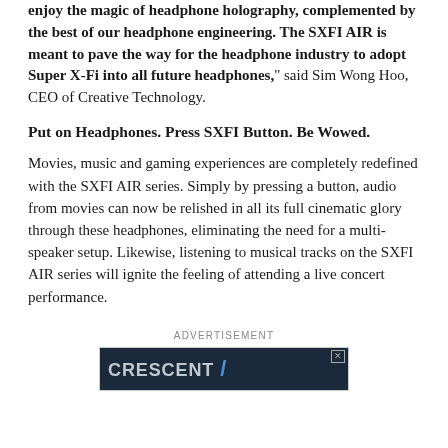enjoy the magic of headphone holography, complemented by the best of our headphone engineering. The SXFI AIR is meant to pave the way for the headphone industry to adopt Super X-Fi into all future headphones," said Sim Wong Hoo, CEO of Creative Technology.
Put on Headphones. Press SXFI Button. Be Wowed.
Movies, music and gaming experiences are completely redefined with the SXFI AIR series. Simply by pressing a button, audio from movies can now be relished in all its full cinematic glory through these headphones, eliminating the need for a multi-speaker setup. Likewise, listening to musical tracks on the SXFI AIR series will ignite the feeling of attending a live concert performance.
ADVERTISEMENT
[Figure (other): Advertisement banner with dark background showing brand logo text and a slash icon]